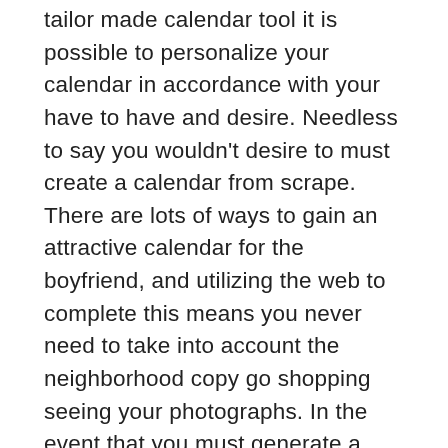tailor made calendar tool it is possible to personalize your calendar in accordance with your have to have and desire. Needless to say you wouldn't desire to must create a calendar from scrape. There are lots of ways to gain an attractive calendar for the boyfriend, and utilizing the web to complete this means you never need to take into account the neighborhood copy go shopping seeing your photographs. In the event that you must generate a unuque calendar in mere five minutes, select an acceptable formatting and design inside the wizard. Obviously, additionally, you'll be able to acquire a calendar with a variety of pictures about the same side.
Calendar will immediately make a meeting